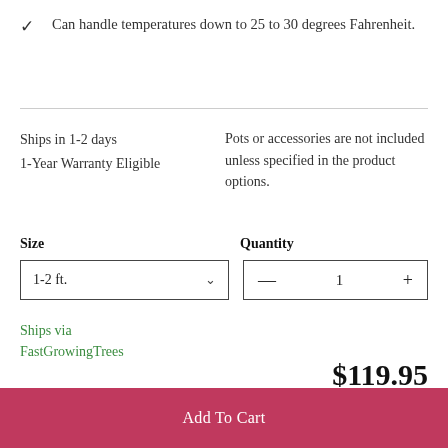✓ Can handle temperatures down to 25 to 30 degrees Fahrenheit.
Ships in 1-2 days
1-Year Warranty Eligible
Pots or accessories are not included unless specified in the product options.
Size
1-2 ft.
Quantity
1
Ships via FastGrowingTrees
$119.95
Add To Cart